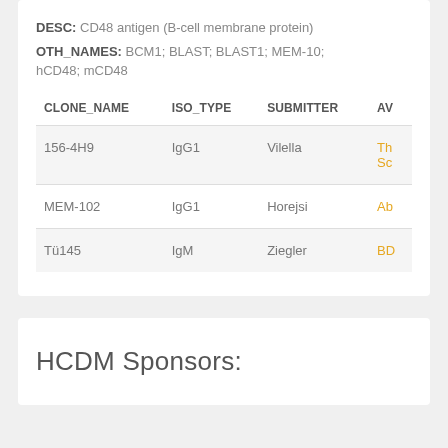DESC: CD48 antigen (B-cell membrane protein)
OTH_NAMES: BCM1; BLAST; BLAST1; MEM-10; hCD48; mCD48
| CLONE_NAME | ISO_TYPE | SUBMITTER | AV… |
| --- | --- | --- | --- |
| 156-4H9 | IgG1 | Vilella | Th… Sc… |
| MEM-102 | IgG1 | Horejsi | Ab… |
| Tü145 | IgM | Ziegler | BD… |
HCDM Sponsors: